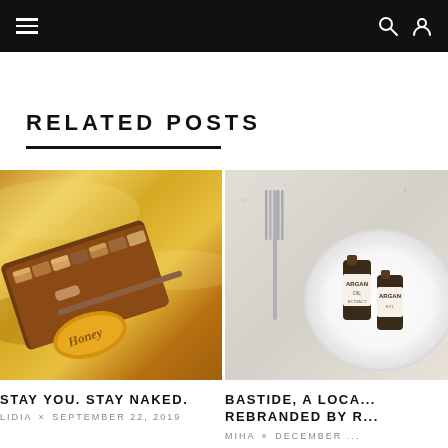Navigation bar with hamburger menu, search and user icons
RELATED POSTS
[Figure (photo): Gold eyeshadow makeup palette labeled 'Honey' with brush on golden fabric background]
STAY YOU. STAY NAKED.
LIDIA × SEPTEMBER 22, 2019
[Figure (photo): White plate with argan oil bottles and a fork on grey stone surface]
BASTIDE, A LOCA... REBRANDED BY R...
MIHA × DECEMBER ...